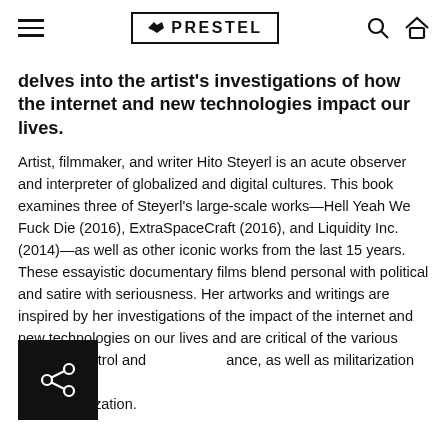PRESTEL (logo with hamburger menu, search, and home icons)
delves into the artist's investigations of how the internet and new technologies impact our lives.
Artist, filmmaker, and writer Hito Steyerl is an acute observer and interpreter of globalized and digital cultures. This book examines three of Steyerl's large-scale works—Hell Yeah We Fuck Die (2016), ExtraSpaceCraft (2016), and Liquidity Inc. (2014)—as well as other iconic works from the last 15 years. These essayistic documentary films blend personal with political and satire with seriousness. Her artworks and writings are inspired by her investigations of the impact of the internet and new technologies on our lives and are critical of the various forms of control and surveillance, as well as militarization and cultural commodification.
[Figure (other): Share icon (network/share symbol) in a black square overlay at bottom left]